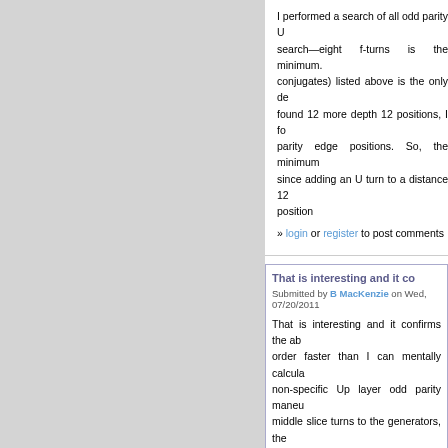I performed a search of all odd parity U search—eight f-turns is the minimum. conjugates) listed above is the only de found 12 more depth 12 positions, I fo parity edge positions. So, the minimum since adding an U turn to a distance 12 position
» login or register to post comments
That is interesting and it co
Submitted by B MacKenzie on Wed, 07/20/2011
That is interesting and it confirms the ab order faster than I can mentally calcula non-specific Up layer odd parity maneu middle slice turns to the generators, the and 12 for the corner permutation:
I. Edge Maneuver (5 turns
   1. MR2 U' MR' U MR2

II. Corner Maneuvers (12 t
   1. R F MR TU F R F'
   2. F R2 MU' R2 F TU2